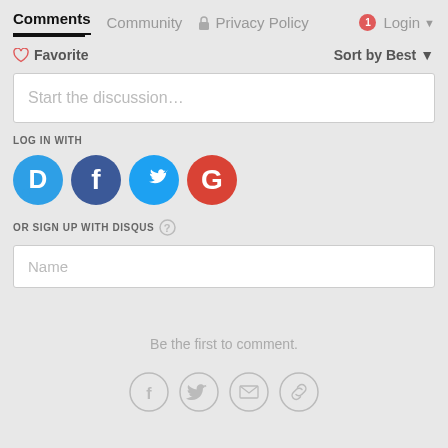Comments  Community  🔒 Privacy Policy  1 Login ▾
♡ Favorite      Sort by Best ▾
Start the discussion…
LOG IN WITH
[Figure (illustration): Social login icons: Disqus (blue circle with D), Facebook (dark blue circle with f), Twitter (light blue circle with bird), Google (red circle with G)]
OR SIGN UP WITH DISQUS  ?
Name
Be the first to comment.
[Figure (illustration): Four circle outline buttons: Facebook f, Twitter bird, Email envelope, Link chain icon]